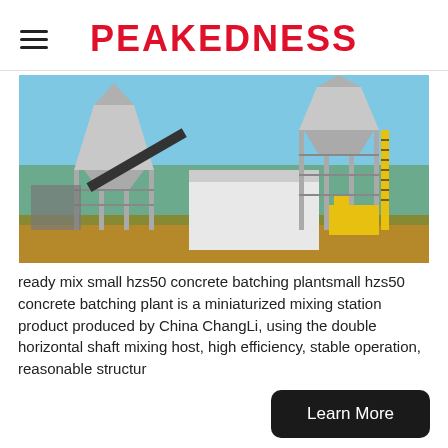PEAKEDNESS
[Figure (photo): Outdoor photo of a concrete batching plant with two large conical silos on metal frames, a conveyor belt, a white building, yellow construction equipment, and blue sky with trees in the background.]
ready mix small hzs50 concrete batching plantsmall hzs50 concrete batching plant is a miniaturized mixing station product produced by China ChangLi, using the double horizontal shaft mixing host, high efficiency, stable operation, reasonable structur
Learn More
Concrete Batching Plant China